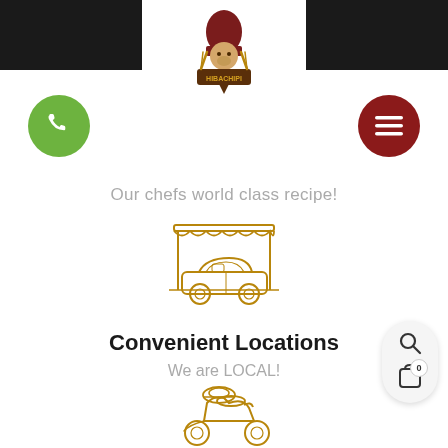[Figure (logo): HibaChipi restaurant logo: cartoon chef holding utensils with brand name banner]
[Figure (illustration): Green circular phone/call button on left]
[Figure (illustration): Dark red circular hamburger menu button on right]
Our chefs world class recipe!
[Figure (illustration): Drive-through icon: car under awning/canopy in golden outline style]
Convenient Locations
We are LOCAL!
[Figure (illustration): Scooter/moped delivery icon with food tray, golden outline style]
[Figure (illustration): Search icon and shopping cart with badge showing 0]